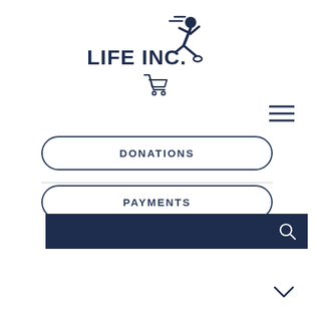[Figure (logo): LIFE INC. logo with a running figure silhouette in dark navy blue]
[Figure (other): Shopping cart icon, outline style, dark navy]
[Figure (other): Hamburger menu icon - three horizontal lines, dark navy]
DONATIONS
PAYMENTS
[Figure (other): Dark navy search bar with magnifying glass icon on the right]
[Figure (other): Chevron/arrow down icon, dark navy]